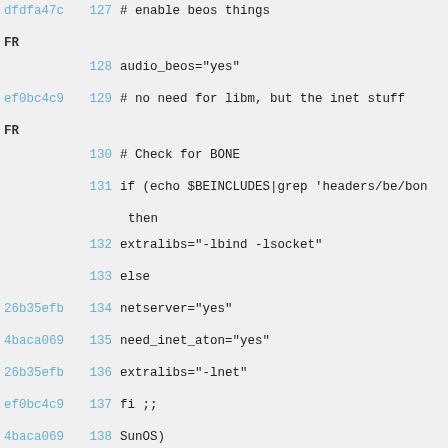dfdfa47c 127  # enable beos things
FR
         128  audio_beos="yes"
ef0bc4c9 129  # no need for libm, but the inet stuff
FR
         130  # Check for BONE
         131  if (echo $BEINCLUDES|grep 'headers/be/bon
              then
         132  extralibs="-lbind -lsocket"
         133  else
26b35efb 134  netserver="yes"
4baca069 135  need_inet_aton="yes"
26b35efb 136  extralibs="-lnet"
ef0bc4c9 137  fi ;;
4baca069 138  SunOS)
PG
         139  v4l="no"
         140  audio_oss="no"
8aa3ee32 141  dv1394="no"